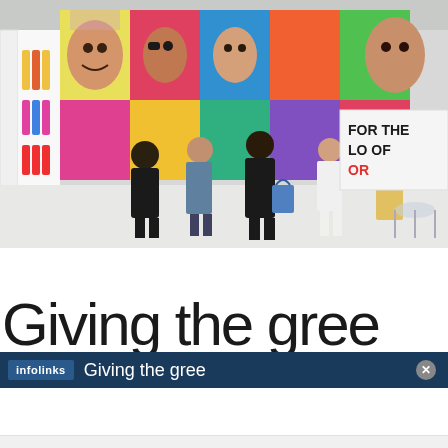[Figure (photo): Trade show or beauty industry expo floor with colorful pop-art style booth backdrops featuring large faces and beauty product imagery. Many attendees are visible walking around. A sign reads 'FOR THE LOVE OF COLOR'. Products displayed on white shelving units on the left side.]
Giving the gree
infolinks — Giving the gree [ad overlay bar with close button]